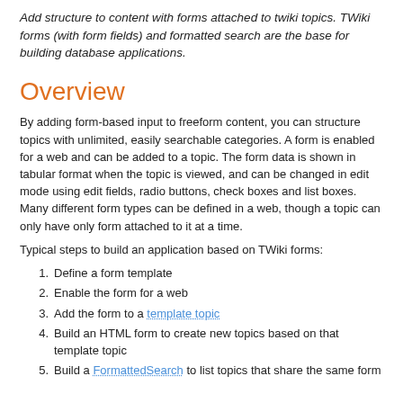Add structure to content with forms attached to twiki topics. TWiki forms (with form fields) and formatted search are the base for building database applications.
Overview
By adding form-based input to freeform content, you can structure topics with unlimited, easily searchable categories. A form is enabled for a web and can be added to a topic. The form data is shown in tabular format when the topic is viewed, and can be changed in edit mode using edit fields, radio buttons, check boxes and list boxes. Many different form types can be defined in a web, though a topic can only have only form attached to it at a time.
Typical steps to build an application based on TWiki forms:
1. Define a form template
2. Enable the form for a web
3. Add the form to a template topic
4. Build an HTML form to create new topics based on that template topic
5. Build a FormattedSearch to list topics that share the same form